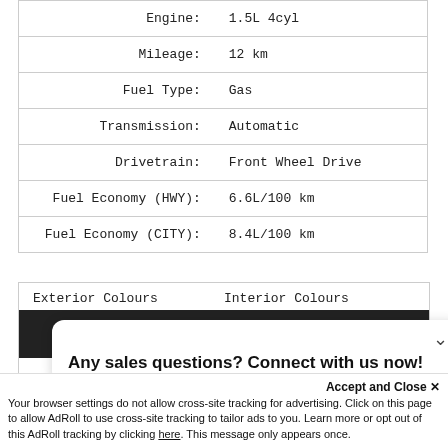| Attribute | Value |
| --- | --- |
| Engine: | 1.5L 4cyl |
| Mileage: | 12 km |
| Fuel Type: | Gas |
| Transmission: | Automatic |
| Drivetrain: | Front Wheel Drive |
| Fuel Economy (HWY): | 6.6L/100 km |
| Fuel Economy (CITY): | 8.4L/100 km |
Exterior Colours | Interior Colours
[Figure (screenshot): Chat popup with avatar (person photo in circle) and chevron, text: Any sales questions? Connect with us now!]
Accept and Close ×
Your browser settings do not allow cross-site tracking for advertising. Click on this page to allow AdRoll to use cross-site tracking to tailor ads to you. Learn more or opt out of this AdRoll tracking by clicking here. This message only appears once.